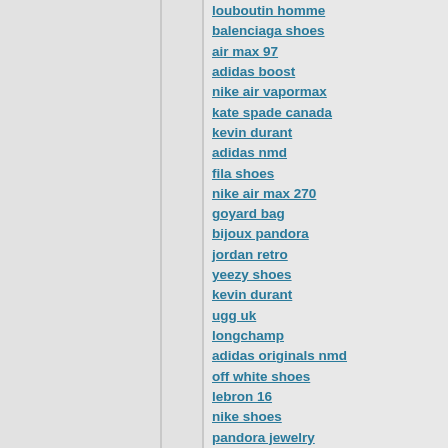louboutin homme
balenciaga shoes
air max 97
adidas boost
nike air vapormax
kate spade canada
kevin durant
adidas nmd
fila shoes
nike air max 270
goyard bag
bijoux pandora
jordan retro
yeezy shoes
kevin durant
ugg uk
longchamp
adidas originals nmd
off white shoes
lebron 16
nike shoes
pandora jewelry
moncler
fitflop sandals
philipp plein t shirt
red bottoms
adidas yeezy
pandora rings
off white
adidas eqt support
salomon boots
moncler coat
balenciaga shoes
pandora charms
jordan 11
red bottom shoes
jordan shoes
nike air max 95